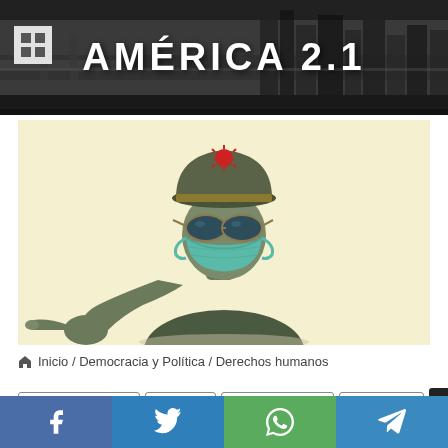AMÉRICA 2.1
[Figure (illustration): 3D illustration of a military figure wearing a green peaked cap with a red coronavirus badge, aviator sunglasses, a teal surgical mask, and a green gloved hand pointing forward. Background is light cream/yellow.]
Inicio / Democracia y Política / Derechos humanos
Derechos humanos
Dictadura
Gente y Sociedad
Otros temas
Facebook  Twitter  WhatsApp  Telegram